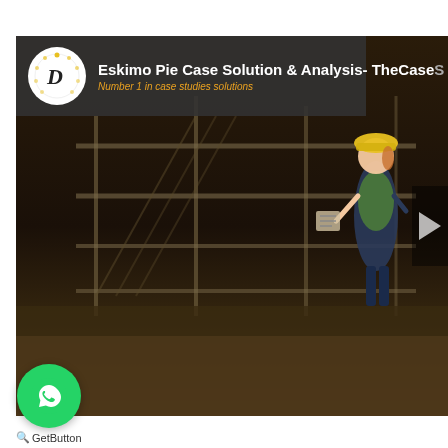[Figure (screenshot): Screenshot of a YouTube video page showing 'Eskimo Pie Case Solution & Analysis- TheCaseS...' with a channel logo (circular icon with a lightbulb/D letter design and dotted ring), channel name and subtitle 'Number 1 in case studies solutions' in orange/yellow, a dark construction site animation scene with scaffolding and an animated female character in a yellow hard hat and green vest, a play button arrow on the right edge, a green WhatsApp floating button at the bottom left, and a 'GetButton' label below it.]